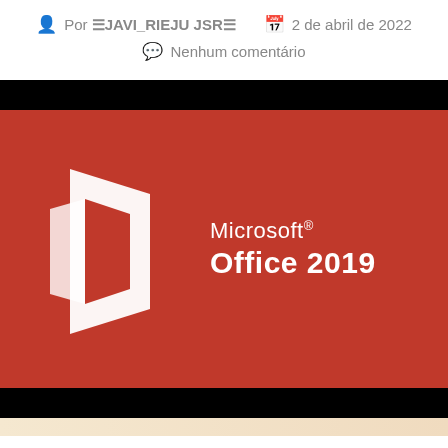Por JAVI_RIEJU JSR   2 de abril de 2022
Nenhum comentário
[Figure (logo): Microsoft Office 2019 logo on a red/orange background with black bars above and below. The Office logo (white stylized 'O' shape) is on the left, and 'Microsoft® Office 2019' text is on the right in white.]